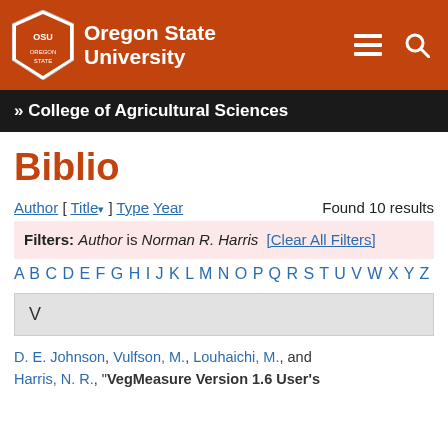Oregon State University — College of Agricultural Sciences
Biblio
Author [ Title ] Type Year   Found 10 results
Filters: Author is Norman R. Harris [Clear All Filters]
A B C D E F G H I J K L M N O P Q R S T U V W X Y Z
V
D. E. Johnson, Vulfson, M., Louhaichi, M., and Harris, N. R., "VegMeasure Version 1.6 User's